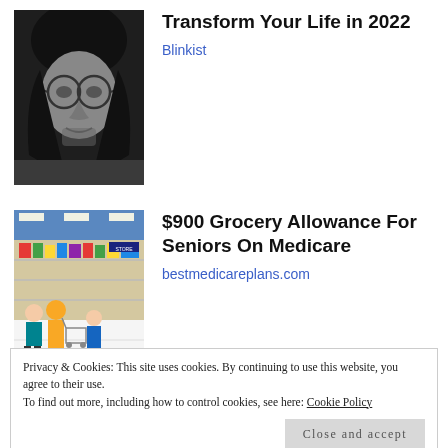[Figure (photo): Black and white photo of a young man with glasses and long hair]
Transform Your Life in 2022
Blinkist
[Figure (photo): Color photo of people shopping in a grocery store aisle]
$900 Grocery Allowance For Seniors On Medicare
bestmedicareplans.com
RATE THIS: ☆☆☆☆☆ Rate This
Privacy & Cookies: This site uses cookies. By continuing to use this website, you agree to their use.
To find out more, including how to control cookies, see here: Cookie Policy
Close and accept